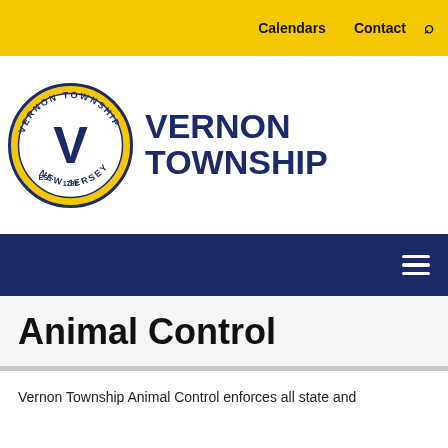Calendars  Contact
[Figure (logo): Vernon Township New Jersey seal and wordmark logo]
Animal Control
Vernon Township Animal Control enforces all state and